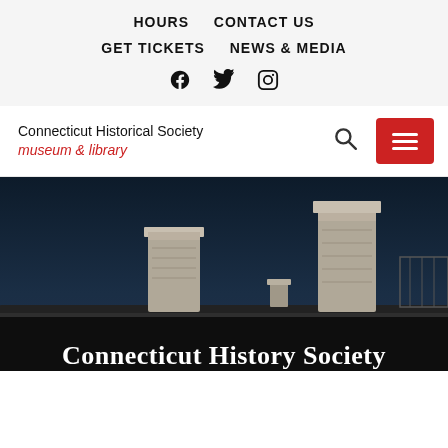HOURS   CONTACT US
GET TICKETS   NEWS & MEDIA
Facebook Twitter Instagram (social icons)
Connecticut Historical Society museum & library
[Figure (photo): Nighttime photo of a historic building rooftop with chimneys against a dark blue sky, with white text 'Connecticut History Society' overlaid at the bottom.]